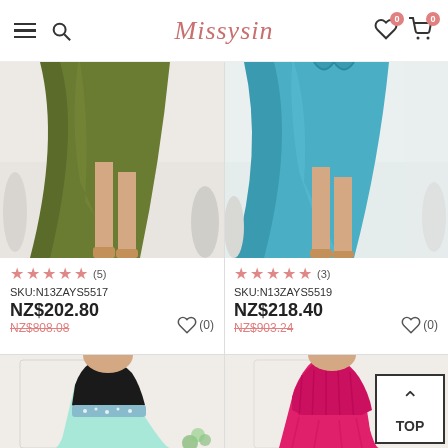Missysin
[Figure (photo): Lower half of model wearing olive green high-low satin dress with train, white background]
★★★★★ (5)
SKU:N13ZAYS5517
NZ$202.80
NZ$808.08
[Figure (photo): Lower half of model wearing teal/blue high-low satin dress with train, white background]
★★★★★ (3)
SKU:N13ZAYS5519
NZ$218.40
NZ$903.24
[Figure (photo): Model wearing black and mint green strapless evening gown with embellished waist]
[Figure (photo): Model wearing hot pink/fuchsia strapless satin evening gown]